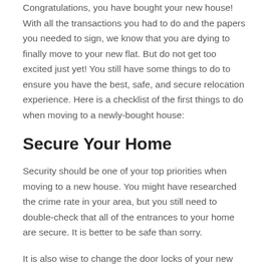Congratulations, you have bought your new house! With all the transactions you had to do and the papers you needed to sign, we know that you are dying to finally move to your new flat. But do not get too excited just yet! You still have some things to do to ensure you have the best, safe, and secure relocation experience. Here is a checklist of the first things to do when moving to a newly-bought house:
Secure Your Home
Security should be one of your top priorities when moving to a new house. You might have researched the crime rate in your area, but you still need to double-check that all of the entrances to your home are secure. It is better to be safe than sorry.
It is also wise to change the door locks of your new house,